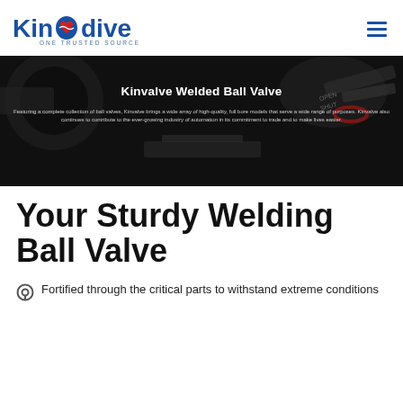Kinvalve ONE TRUSTED SOURCE
[Figure (photo): Dark industrial background showing ball valve components with wrenches and flanges]
Kinvalve Welded Ball Valve
Featuring a complete collection of ball valves, Kinvalve brings a wide array of high-quality, full bore models that serve a wide range of purposes. Kinvalve also continues to contribute to the ever-growing industry of automation in its commitment to trade and to make lives easier.
Your Sturdy Welding Ball Valve
Fortified through the critical parts to withstand extreme conditions